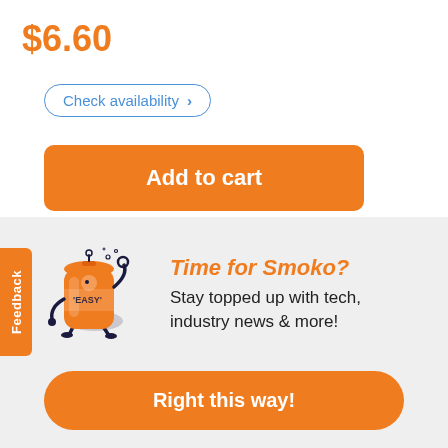$6.60
Check availability >
Add to cart
Feedback
Time for Smoko?
Stay topped up with tech, industry news & more!
Right this way!